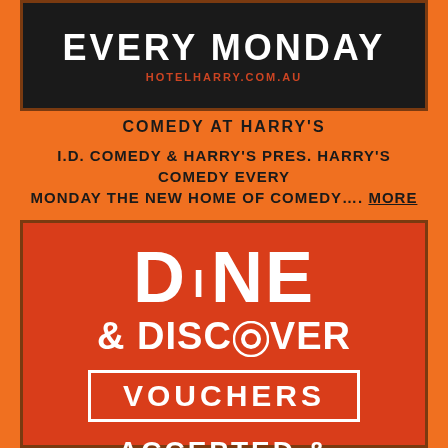[Figure (illustration): Dark banner with bold white text 'EVERY MONDAY' and red URL 'HOTELHARRY.COM.AU']
COMEDY AT HARRY'S
I.D. COMEDY & HARRY'S PRES. HARRY'S COMEDY EVERY MONDAY THE NEW HOME OF COMEDY…. MORE
[Figure (illustration): Red/orange box with large white bold text 'DINE & DISCOVER' with a Discover card logo icon replacing the O in DISCOVER, then a white-bordered box with 'VOUCHERS', and below 'ACCEPTED &']